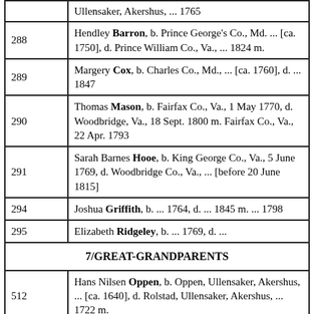| # | Entry |
| --- | --- |
|  | Ullensaker, Akershus, ... 1765 |
| 288 | Hendley Barron, b. Prince George's Co., Md. ... [ca. 1750], d. Prince William Co., Va., ... 1824 m. |
| 289 | Margery Cox, b. Charles Co., Md., ... [ca. 1760], d. ... 1847 |
| 290 | Thomas Mason, b. Fairfax Co., Va., 1 May 1770, d. Woodbridge, Va., 18 Sept. 1800 m. Fairfax Co., Va., 22 Apr. 1793 |
| 291 | Sarah Barnes Hooe, b. King George Co., Va., 5 June 1769, d. Woodbridge Co., Va., ... [before 20 June 1815] |
| 294 | Joshua Griffith, b. ... 1764, d. ... 1845 m. ... 1798 |
| 295 | Elizabeth Ridgeley, b. ... 1769, d. ... |
| 7/GREAT-GRANDPARENTS |  |
| 512 | Hans Nilsen Oppen, b. Oppen, Ullensaker, Akershus, ... [ca. 1640], d. Rolstad, Ullensaker, Akershus, ... 1722 m. |